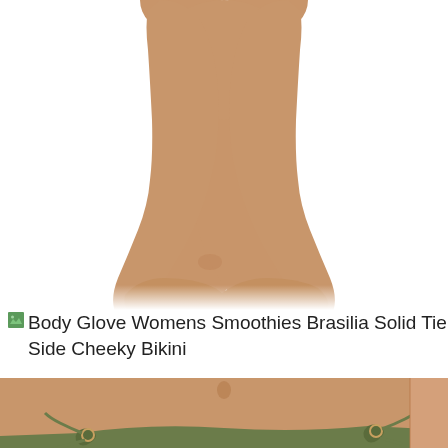[Figure (photo): Close-up photo of a person's bare feet and lower legs crossed, on a white background]
Body Glove Womens Smoothies Brasilia Solid Tie Side Cheeky Bikini
[Figure (photo): Close-up photo of a person's midsection wearing a green/olive tie-side bikini bottom with ring hardware detail]